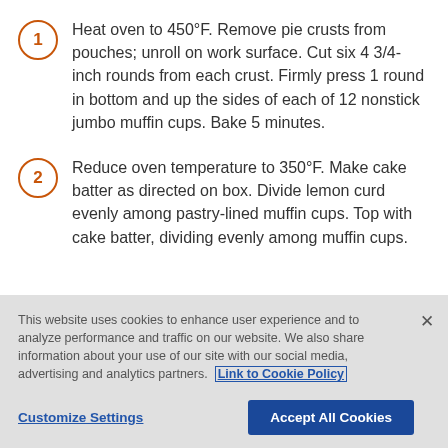1. Heat oven to 450°F. Remove pie crusts from pouches; unroll on work surface. Cut six 4 3/4-inch rounds from each crust. Firmly press 1 round in bottom and up the sides of each of 12 nonstick jumbo muffin cups. Bake 5 minutes.
2. Reduce oven temperature to 350°F. Make cake batter as directed on box. Divide lemon curd evenly among pastry-lined muffin cups. Top with cake batter, dividing evenly among muffin cups.
This website uses cookies to enhance user experience and to analyze performance and traffic on our website. We also share information about your use of our site with our social media, advertising and analytics partners. Link to Cookie Policy
Customize Settings  Accept All Cookies